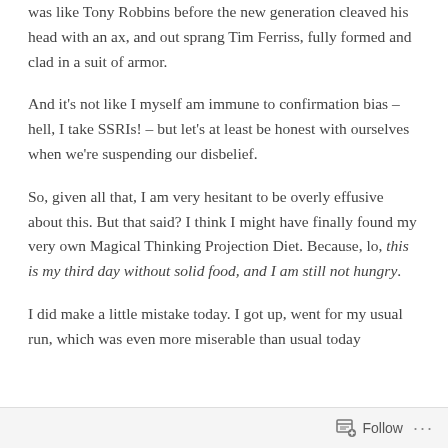was like Tony Robbins before the new generation cleaved his head with an ax, and out sprang Tim Ferriss, fully formed and clad in a suit of armor.
And it's not like I myself am immune to confirmation bias – hell, I take SSRIs! – but let's at least be honest with ourselves when we're suspending our disbelief.
So, given all that, I am very hesitant to be overly effusive about this. But that said? I think I might have finally found my very own Magical Thinking Projection Diet. Because, lo, this is my third day without solid food, and I am still not hungry.
I did make a little mistake today. I got up, went for my usual run, which was even more miserable than usual today
Follow